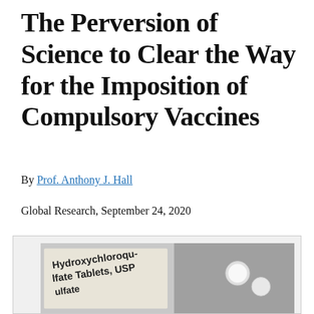The Perversion of Science to Clear the Way for the Imposition of Compulsory Vaccines
By Prof. Anthony J. Hall
Global Research, September 24, 2020
[Figure (photo): Photograph of a Hydroxychloroquine Sulfate Tablets USP package with white pills visible]